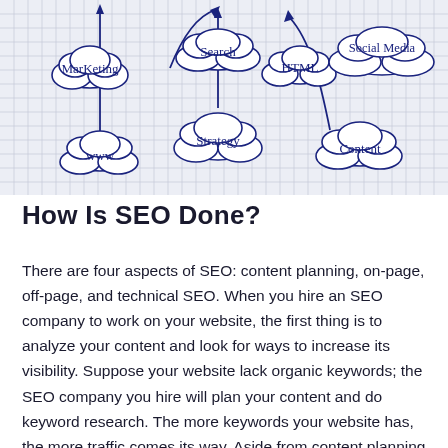[Figure (illustration): Hand-drawn style illustration on grid paper background showing SEO-related concepts in cloud/bubble shapes: Marketing, Search, HTML, Social Media, www, Strategy, Content — connected with arrows pointing upward and to a central concept.]
How Is SEO Done?
There are four aspects of SEO: content planning, on-page, off-page, and technical SEO. When you hire an SEO company to work on your website, the first thing is to analyze your content and look for ways to increase its visibility. Suppose your website lack organic keywords; the SEO company you hire will plan your content and do keyword research. The more keywords your website has, the more traffic comes its way. Aside from content planning and keywords optimization, the expert you hire will do on-page SEO.
This process involves optimizing your web pages to meet